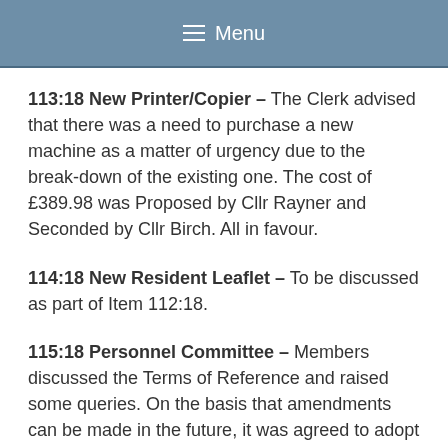Menu
113:18 New Printer/Copier – The Clerk advised that there was a need to purchase a new machine as a matter of urgency due to the break-down of the existing one. The cost of £389.98 was Proposed by Cllr Rayner and Seconded by Cllr Birch. All in favour.
114:18 New Resident Leaflet – To be discussed as part of Item 112:18.
115:18 Personnel Committee – Members discussed the Terms of Reference and raised some queries. On the basis that amendments can be made in the future, it was agreed to adopt the Terms of Reference and Cllr Fairhall.